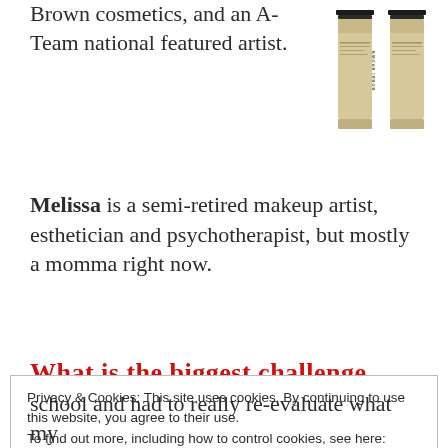Brown cosmetics, and an A-Team national featured artist.
[Figure (photo): Two Bobbi Brown cosmetic product bottles side by side, beige/gold colored with black caps and brand label]
Melissa is a semi-retired makeup artist, esthetician and psychotherapist, but mostly a momma right now.
What is the biggest challenge
Privacy & Cookies: This site uses cookies. By continuing to use this website, you agree to their use.
To find out more, including how to control cookies, see here:
Cookie Policy
Close and accept
school and had to really re-evaluate what my